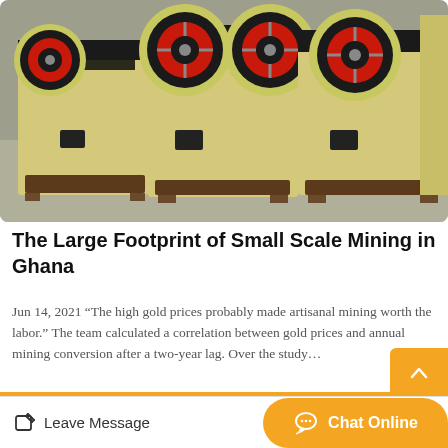[Figure (photo): Industrial jaw crusher machines in yellow and black with red flywheel accents, stored in a warehouse on a concrete floor.]
The Large Footprint of Small Scale Mining in Ghana
Jun 14, 2021 “The high gold prices probably made artisanal mining worth the labor.” The team calculated a correlation between gold prices and annual mining conversion after a two-year lag. Over the study…